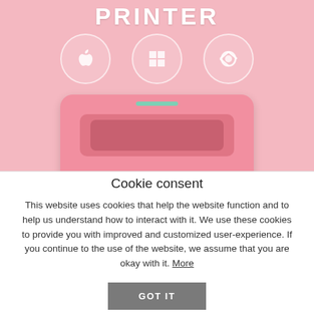[Figure (photo): Pink thermal label printer with Apple, Windows, and Chrome OS icons above it, printing a shipping label (PRIORITY MAIL 2-DAY) on a pink background]
Cookie consent
This website uses cookies that help the website function and to help us understand how to interact with it. We use these cookies to provide you with improved and customized user-experience. If you continue to the use of the website, we assume that you are okay with it. More